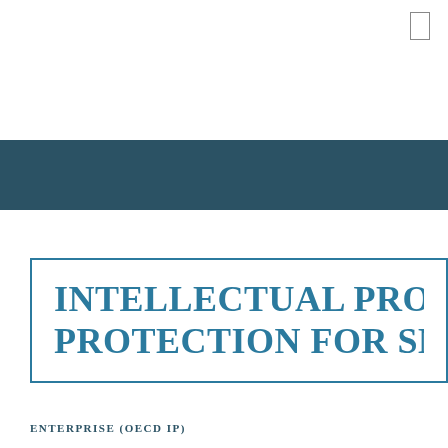[Figure (other): Small rectangle icon in top right corner, resembling a document or bookmark icon]
[Figure (other): Dark teal/navy horizontal band spanning the full width of the page]
INTELLECTUAL PROPERTY PROTECTION FOR SM...
ENTERPRISE (OECD IP)